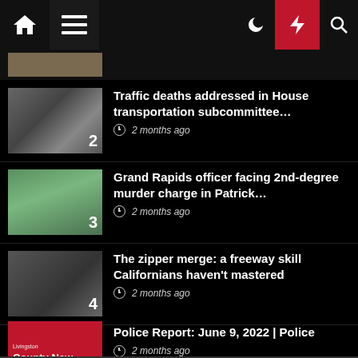[Figure (screenshot): Navigation bar with home icon, menu icon, moon icon, red lightning bolt icon, and search icon]
[Figure (photo): Partial top news thumbnail (cropped car accident scene)]
Traffic deaths addressed in House transportation subcommittee… 2 months ago
Grand Rapids officer facing 2nd-degree murder charge in Patrick… 2 months ago
The zipper merge: a freeway skill Californians haven't mastered 2 months ago
Police Report: June 9, 2022 | Police 2 months ago